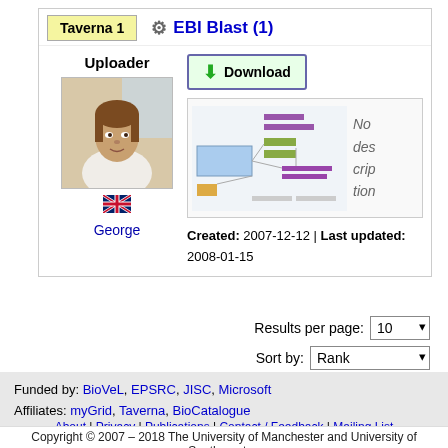[Figure (screenshot): Workflow card showing Taverna 1 button, EBI Blast (1) heading, uploader photo of George with UK flag, Download button, workflow diagram preview with 'No description' text, and dates Created: 2007-12-12, Last updated: 2008-01-15]
Results per page: 10  Sort by: Rank
Funded by: BioVeL, EPSRC, JISC, Microsoft
Affiliates: myGrid, Taverna, BioCatalogue
About | Privacy | Publications | Contact / Feedback | Mailing List
Icons: Silk icon set 1.3
Copyright © 2007 – 2018 The University of Manchester and University of Southampton